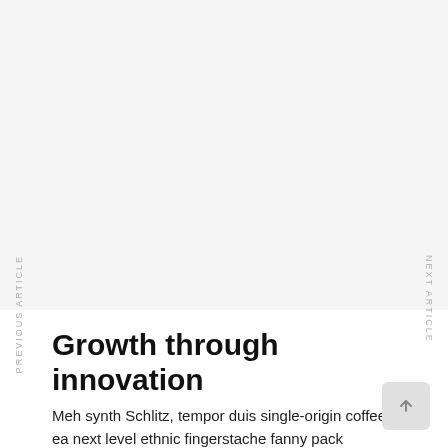PREVIOUS ARTICLE
NEXT ARTICLE
Growth through innovation
Meh synth Schlitz, tempor duis single-origin coffee ea next level ethnic fingerstache fanny pack nostrud.